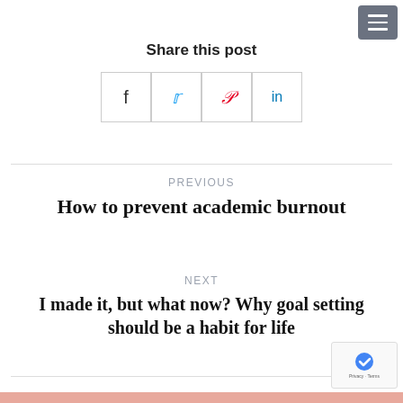[Figure (other): Hamburger menu button (three horizontal lines) in gray rounded rectangle, top right corner]
Share this post
[Figure (other): Four social share icon buttons in a row: f (Facebook), t (Twitter, blue bird icon), p (Pinterest, red), in (LinkedIn, blue)]
PREVIOUS
How to prevent academic burnout
NEXT
I made it, but what now? Why goal setting should be a habit for life